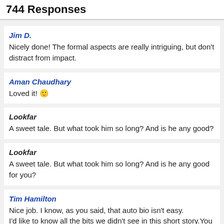744 Responses
Jim D.
Nicely done! The formal aspects are really intriguing, but don't distract from impact.
Aman Chaudhary
Loved it! 🙂
Lookfar
A sweet tale. But what took him so long? And is he any good?
Lookfar
A sweet tale. But what took him so long? And is he any good for you?
Tim Hamilton
Nice job. I know, as you said, that auto bio isn't easy.
I'd like to know all the bits we didn't see in this short story. You captured tha heartbreak thing.
ElizabethGenco.com » mr. wood says it best